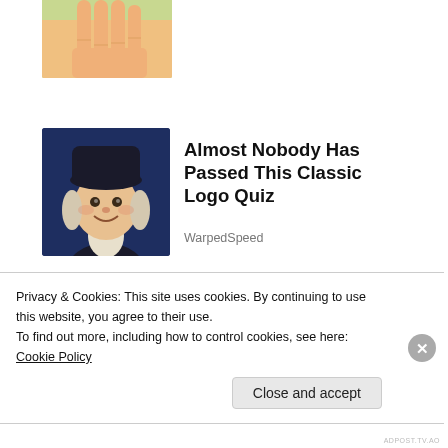[Figure (photo): Partial view of a hand with fingers, cropped at top of page, on light background]
[Figure (illustration): Quaker Oats man mascot illustration on dark navy background]
Almost Nobody Has Passed This Classic Logo Quiz
WarpedSpeed
[Figure (photo): Blonde woman in yellow sweater looking down, sitting indoors]
Privacy & Cookies: This site uses cookies. By continuing to use this website, you agree to their use.
To find out more, including how to control cookies, see here: Cookie Policy
Close and accept